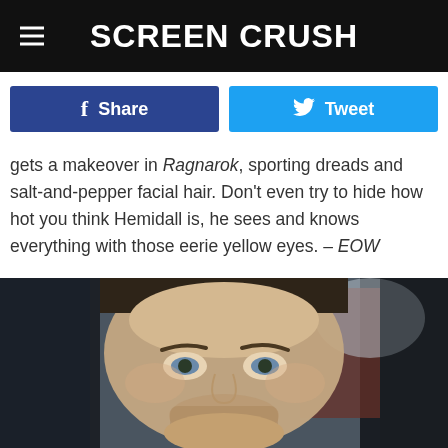SCREEN CRUSH
Share   Tweet
gets a makeover in Ragnarok, sporting dreads and salt-and-pepper facial hair. Don't even try to hide how hot you think Hemidall is, he sees and knows everything with those eerie yellow eyes. – EOW
[Figure (photo): Close-up photo of a man's face with short brownish hair, blue eyes, light stubble, against a blurred background with dark and reddish tones]